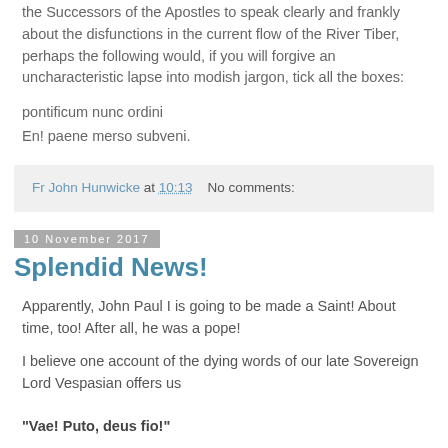the Successors of the Apostles to speak clearly and frankly about the disfunctions in the current flow of the River Tiber, perhaps the following would, if you will forgive an uncharacteristic lapse into modish jargon, tick all the boxes:
pontificum nunc ordini
En! paene merso subveni.
Fr John Hunwicke at 10:13    No comments:
10 November 2017
Splendid News!
Apparently, John Paul I is going to be made a Saint! About time, too! After all, he was a pope!
I believe one account of the dying words of our late Sovereign Lord Vespasian offers us
"Vae! Puto, deus fio!"